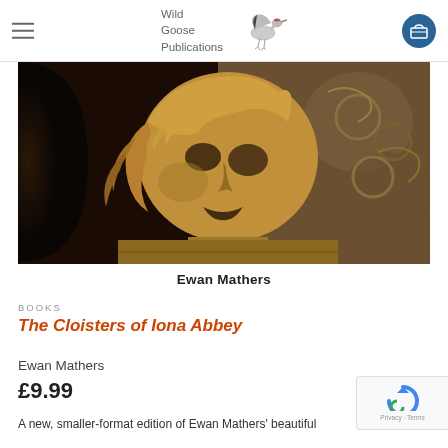Wild Goose Publications
[Figure (photo): Stone carving of a face with flowing hair, sepia-toned, from Iona Abbey cloisters]
Ewan Mathers
BOOKS
The Cloisters of Iona Abbey
Ewan Mathers
£9.99
A new, smaller-format edition of Ewan Mathers' beautiful